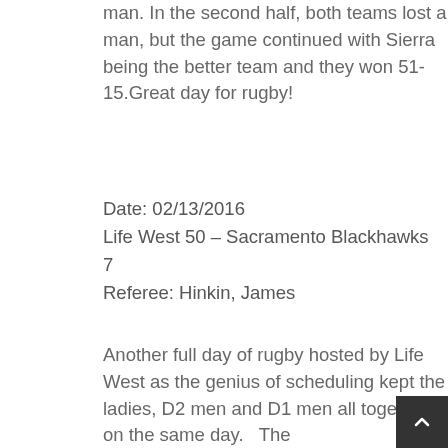man. In the second half, both teams lost a man, but the game continued with Sierra being the better team and they won 51-15.Great day for rugby!
Date: 02/13/2016
Life West 50 – Sacramento Blackhawks 7
Referee: Hinkin, James
Another full day of rugby hosted by Life West as the genius of scheduling kept the ladies, D2 men and D1 men all together on the same day.   The